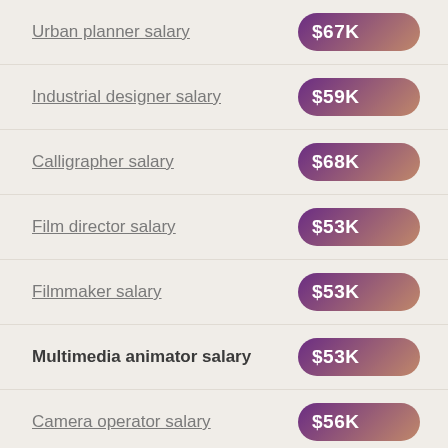Urban planner salary — $67K
Industrial designer salary — $59K
Calligrapher salary — $68K
Film director salary — $53K
Filmmaker salary — $53K
Multimedia animator salary — $53K
Camera operator salary — $56K
Interior designer salary — $51K